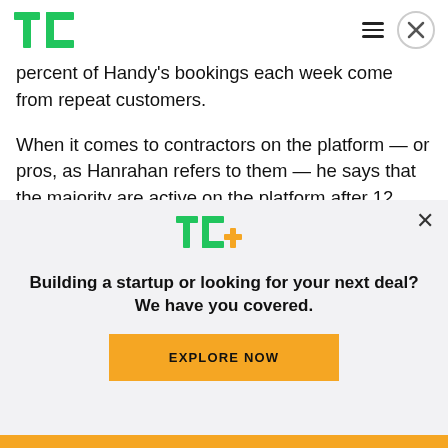TechCrunch logo, hamburger menu, close button
percent of Handy's bookings each week come from repeat customers.
When it comes to contractors on the platform — or pros, as Hanrahan refers to them — he says that the majority are active on the platform after 12 months, and are still doing work after a 30-day period, but that the “vast majority” are working less
[Figure (logo): TC+ logo with green TC letters and yellow plus sign]
Building a startup or looking for your next deal? We have you covered.
EXPLORE NOW